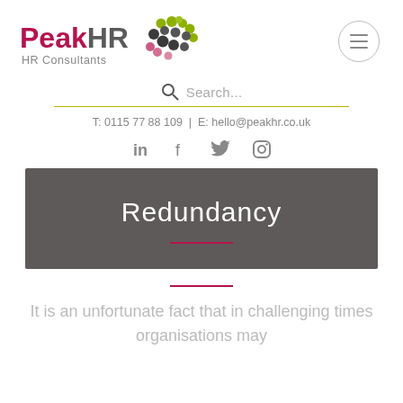[Figure (logo): PeakHR HR Consultants logo with stylized dot cluster graphic]
Search...
T: 0115 77 88 109 | E: hello@peakhr.co.uk
[Figure (infographic): Social media icons: LinkedIn, Facebook, Twitter, Instagram]
Redundancy
It is an unfortunate fact that in challenging times organisations may